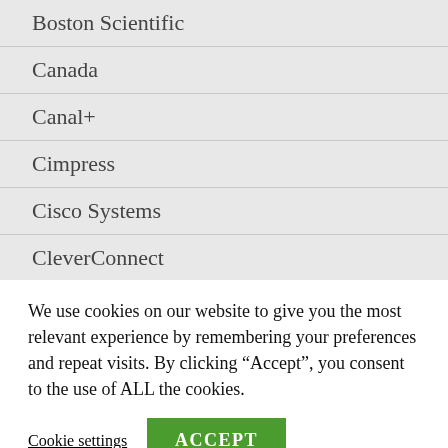Boston Scientific
Canada
Canal+
Cimpress
Cisco Systems
CleverConnect
Click&Boat
Clifford Chance
Cloudimage (partial)
We use cookies on our website to give you the most relevant experience by remembering your preferences and repeat visits. By clicking “Accept”, you consent to the use of ALL the cookies.
Cookie settings
ACCEPT